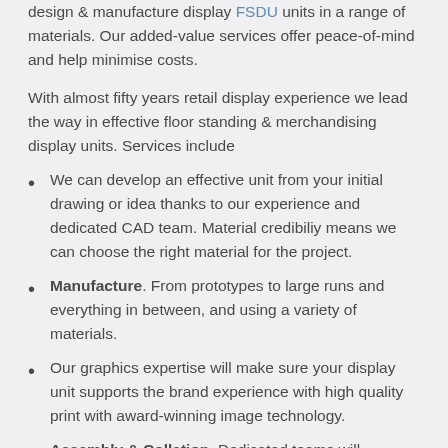design & manufacture display FSDU units in a range of materials. Our added-value services offer peace-of-mind and help minimise costs.
With almost fifty years retail display experience we lead the way in effective floor standing & merchandising display units. Services include
We can develop an effective unit from your initial drawing or idea thanks to our experience and dedicated CAD team. Material credibiliy means we can choose the right material for the project.
Manufacture. From prototypes to large runs and everything in between, and using a variety of materials.
Our graphics expertise will make sure your display unit supports the brand experience with high quality print with award-winning image technology.
Assembly & Collation. Dedicated teams will